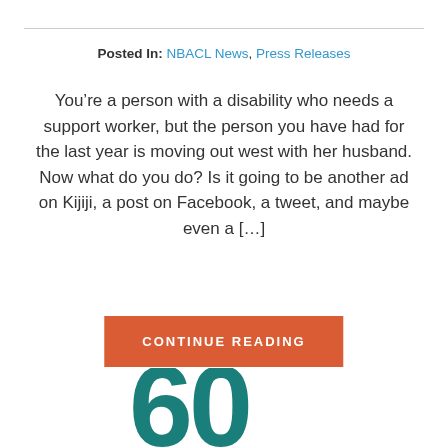Posted In: NBACL News, Press Releases
You’re a person with a disability who needs a support worker, but the person you have had for the last year is moving out west with her husband. Now what do you do? Is it going to be another ad on Kijiji, a post on Facebook, a tweet, and maybe even a […]
CONTINUE READING
[Figure (logo): Large teal number 60 logo partially visible at bottom of page]